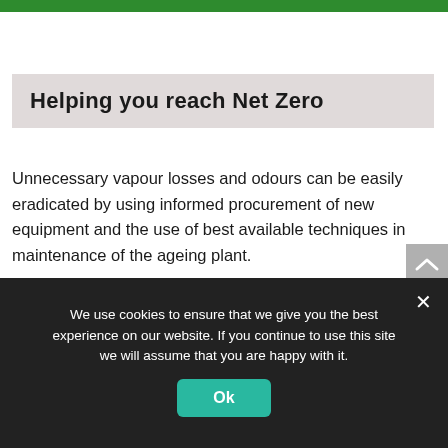[Figure (other): Green horizontal bar at top of page]
Helping you reach Net Zero
Unnecessary vapour losses and odours can be easily eradicated by using informed procurement of new equipment and the use of best available techniques in maintenance of the ageing plant.
Assentech can offer the full environmental package by identifying emissions, functional testing of breather vents to identify underperforming equipment, innovative maintenance and service packages aligned to API 2000 and the manufacturer's
We use cookies to ensure that we give you the best experience on our website. If you continue to use this site we will assume that you are happy with it.